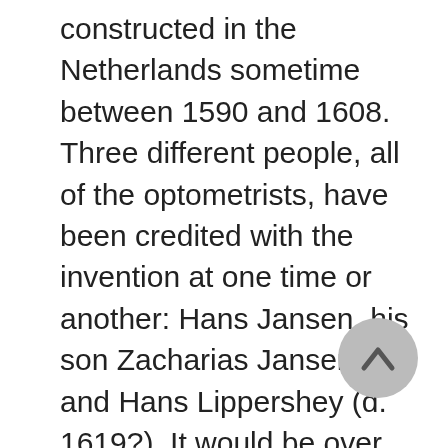constructed in the Netherlands sometime between 1590 and 1608. Three different people, all of the optometrists, have been credited with the invention at one time or another: Hans Jansen, his son Zacharias Jansen, and Hans Lippershey (d. 1619?). It would be over 200 years before these problems were completely resolved, making the compound microscope an important biological tool.